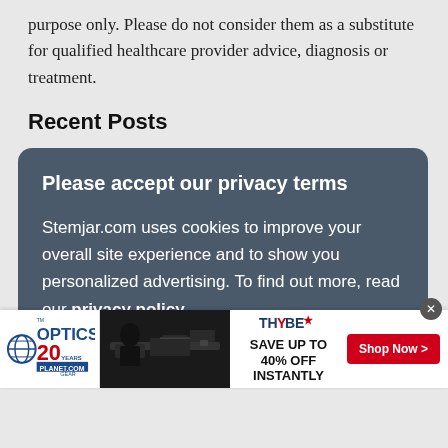purpose only. Please do not consider them as a substitute for qualified healthcare provider advice, diagnosis or treatment.
Recent Posts
Please accept our privacy terms

Stemjar.com uses cookies to improve your overall site experience and to show you personalized advertising. To find out more, read our privacy policy.
[Figure (screenshot): Advertisement banner for OpticsPlanet showing 20 years logo, rifle image, Thebe brand logo, and 'SAVE UP TO 40% OFF INSTANTLY' with red Shop Now button]